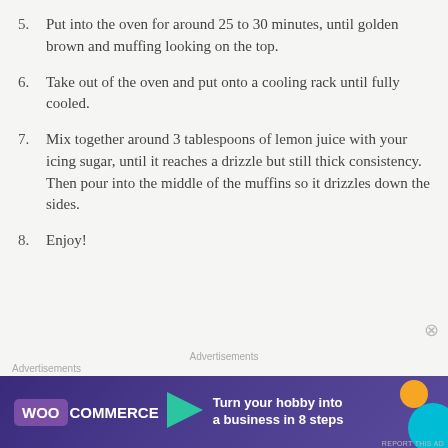5. Put into the oven for around 25 to 30 minutes, until golden brown and muffing looking on the top.
6. Take out of the oven and put onto a cooling rack until fully cooled.
7. Mix together around 3 tablespoons of lemon juice with your icing sugar, until it reaches a drizzle but still thick consistency. Then pour into the middle of the muffins so it drizzles down the sides.
8. Enjoy!
[Figure (screenshot): WooCommerce advertisement banner: 'Turn your hobby into a business in 8 steps' on a dark purple background with teal arrow shape, orange circle, and blue circle decorative elements.]